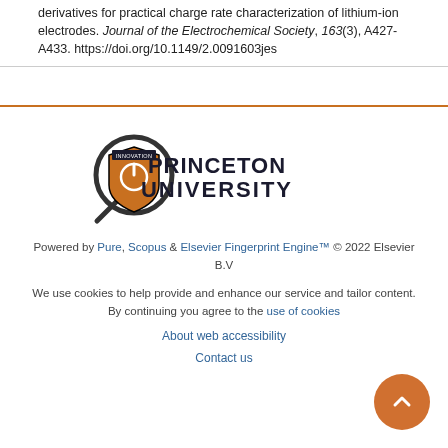derivatives for practical charge rate characterization of lithium-ion electrodes. Journal of the Electrochemical Society, 163(3), A427-A433. https://doi.org/10.1149/2.0091603jes
[Figure (logo): Princeton University logo with magnifying glass icon and shield]
Powered by Pure, Scopus & Elsevier Fingerprint Engine™ © 2022 Elsevier B.V
We use cookies to help provide and enhance our service and tailor content. By continuing you agree to the use of cookies
About web accessibility
Contact us